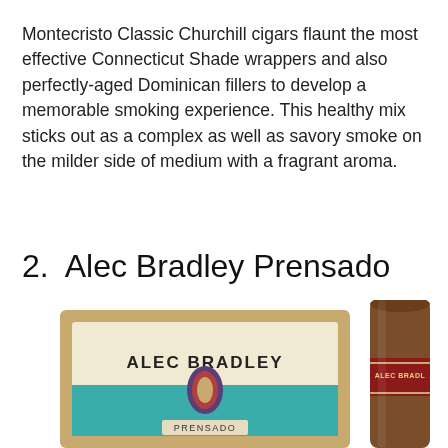Montecristo Classic Churchill cigars flaunt the most effective Connecticut Shade wrappers and also perfectly-aged Dominican fillers to develop a memorable smoking experience. This healthy mix sticks out as a complex as well as savory smoke on the milder side of medium with a fragrant aroma.
2.  Alec Bradley Prensado
[Figure (photo): Photo of Alec Bradley Prensado cigar box (open, teal interior with cream-colored label reading ALEC BRADLEY and PRENSADO) on the left, and a single Alec Bradley Prensado cigar stick on the right, partially visible.]